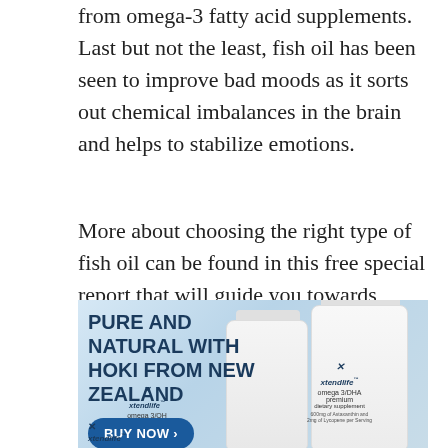from omega-3 fatty acid supplements. Last but not the least, fish oil has been seen to improve bad moods as it sorts out chemical imbalances in the brain and helps to stabilize emotions.
More about choosing the right type of fish oil can be found in this free special report that will guide you towards picking your ideal brand. Click here to read it.
[Figure (illustration): Advertisement banner for xtendlife omega-3 supplements. Text reads: PURE AND NATURAL WITH HOKI FROM NEW ZEALAND with a BUY NOW button. Shows two white supplement bottles labeled xtendlife omega 3/QH ultra and xtendlife omega 3/DHA premium dietary supplement.]